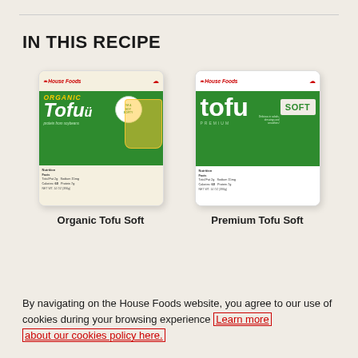IN THIS RECIPE
[Figure (photo): House Foods Organic Tofu Soft product package, green label with yellow 'ORGANIC Tofu' text, 14 oz]
Organic Tofu Soft
[Figure (photo): House Foods Premium Tofu Soft product package, green label with white 'tofu' text and SOFT box, 14 oz]
Premium Tofu Soft
By navigating on the House Foods website, you agree to our use of cookies during your browsing experience Learn more about our cookies policy here.